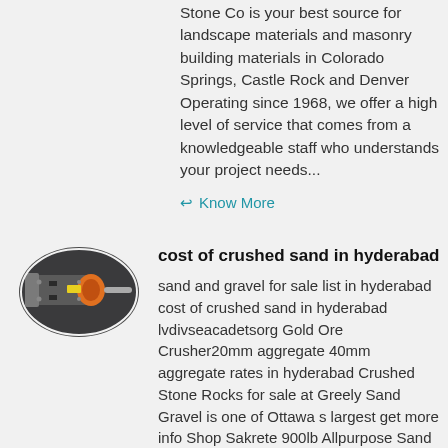Stone Co is your best source for landscape materials and masonry building materials in Colorado Springs, Castle Rock and Denver Operating since 1968, we offer a high level of service that comes from a knowledgeable staff who understands your project needs...
↩ Know More
[Figure (photo): Oval/elliptical shaped thumbnail showing an industrial machine or crusher with orange and grey components against a dark background.]
cost of crushed sand in hyderabad
sand and gravel for sale list in hyderabad cost of crushed sand in hyderabad lvdivseacadetsorg Gold Ore Crusher20mm aggregate 40mm aggregate rates in hyderabad Crushed Stone Rocks for sale at Greely Sand Gravel is one of Ottawa s largest get more info Shop Sakrete 900lb Allpurpose Sand at Lowescom Get Price And Support...